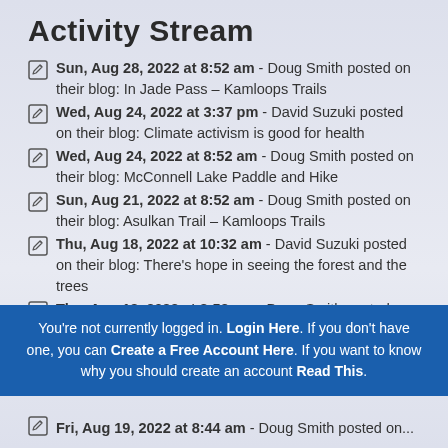Activity Stream
Sun, Aug 28, 2022 at 8:52 am - Doug Smith posted on their blog: In Jade Pass – Kamloops Trails
Wed, Aug 24, 2022 at 3:37 pm - David Suzuki posted on their blog: Climate activism is good for health
Wed, Aug 24, 2022 at 8:52 am - Doug Smith posted on their blog: McConnell Lake Paddle and Hike
Sun, Aug 21, 2022 at 8:52 am - Doug Smith posted on their blog: Asulkan Trail – Kamloops Trails
Thu, Aug 18, 2022 at 10:32 am - David Suzuki posted on their blog: There's hope in seeing the forest and the trees
Thu, Aug 18, 2022 at 8:52 am - Doug Smith posted on
You're not currently logged in. Login Here. If you don't have one, you can Create a Free Account Here. If you want to know why you should create an account Read This.
Fri, Aug 19, 2022 at 8:44 am - Doug Smith posted on...